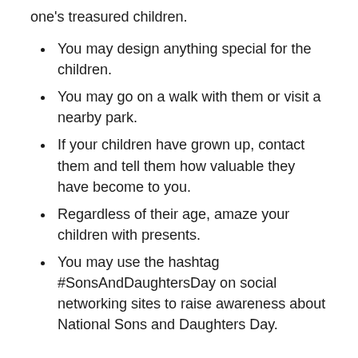one's treasured children.
You may design anything special for the children.
You may go on a walk with them or visit a nearby park.
If your children have grown up, contact them and tell them how valuable they have become to you.
Regardless of their age, amaze your children with presents.
You may use the hashtag #SonsAndDaughtersDay on social networking sites to raise awareness about National Sons and Daughters Day.